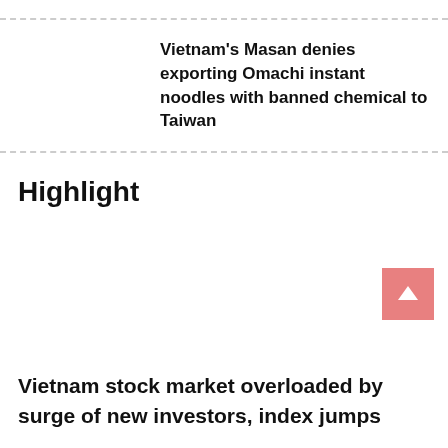Vietnam's Masan denies exporting Omachi instant noodles with banned chemical to Taiwan
Highlight
[Figure (other): Scroll-to-top button: salmon/pink rounded square with upward triangle arrow icon]
Vietnam stock market overloaded by surge of new investors, index jumps